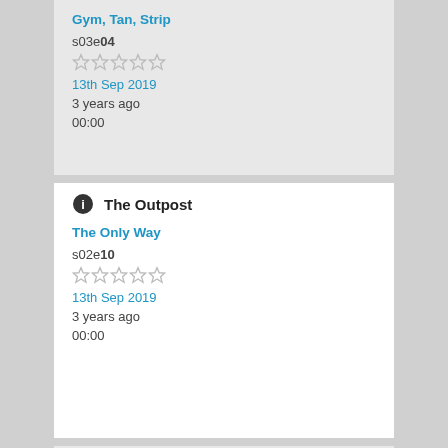Gym, Tan, Strip
s03e04
13th Sep 2019
3 years ago
00:00
The Outpost
The Only Way
s02e10
13th Sep 2019
3 years ago
00:00
Flip or Flop
We a Pump